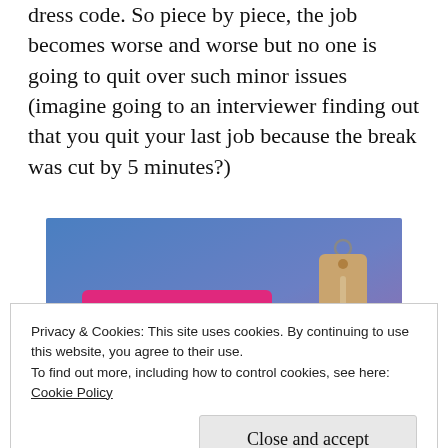dress code. So piece by piece, the job becomes worse and worse but no one is going to quit over such minor issues (imagine going to an interviewer finding out that you quit your last job because the break was cut by 5 minutes?)
[Figure (other): Advertisement banner with blue-to-purple gradient background, a pink 'Build Your Website' button on the left, and a tan/brown price tag graphic on the right.]
Privacy & Cookies: This site uses cookies. By continuing to use this website, you agree to their use.
To find out more, including how to control cookies, see here: Cookie Policy